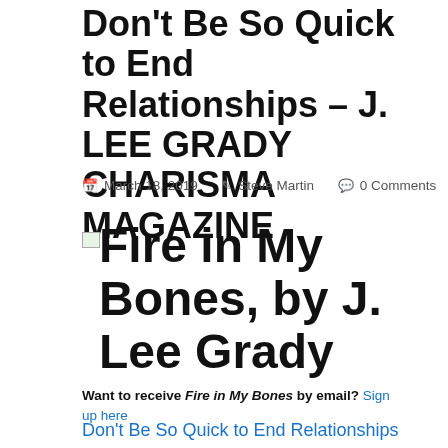Don't Be So Quick to End Relationships – J. LEE GRADY CHARISMA MAGAZINE
March 18, 2019   Steve Martin   0 Comments
[Figure (illustration): Small broken image placeholder icon]
Fire in My Bones, by J. Lee Grady
Want to receive Fire in My Bones by email? Sign up here
Don't Be So Quick to End Relationships
3/13/2019  |  J. LEE GRADY CHARISMA MAGAZINE